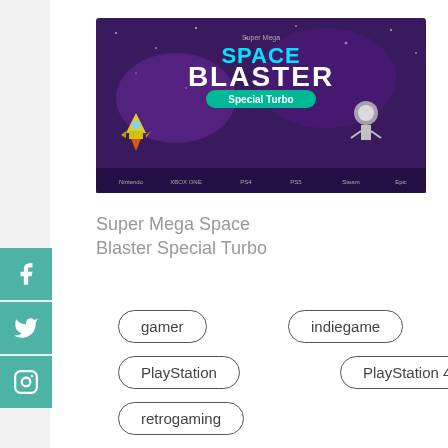[Figure (screenshot): Super Mega Space Blaster Special Turbo game cover art showing spacecraft and colorful space scene with game title and platform icons]
Super Mega Space Blaster Special Turbo
gamer
indiegame
PlayStation
PlayStation 4
retrogaming
shmup
SMSBSp
SMSBSpT
SMSBST